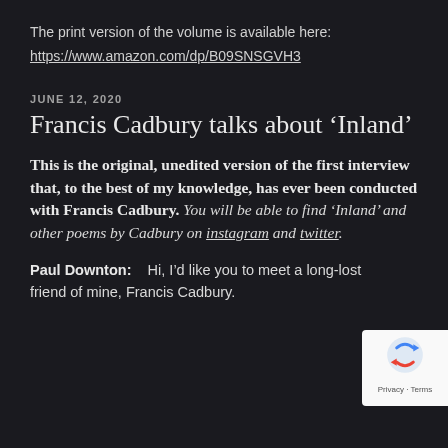The print version of the volume is available here:
https://www.amazon.com/dp/B09SNSGVH3
JUNE 12, 2020
Francis Cadbury talks about ‘Inland’
This is the original, unedited version of the first interview that, to the best of my knowledge, has ever been conducted with Francis Cadbury. You will be able to find ‘Inland’ and other poems by Cadbury on instagram and twitter.
Paul Downton:   Hi, I’d like you to meet a long-lost friend of mine, Francis Cadbury.